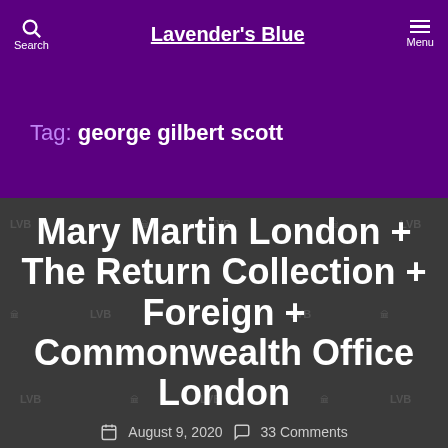Search   Lavender's Blue   Menu
Tag: george gilbert scott
Mary Martin London + The Return Collection + Foreign + Commonwealth Office London
August 9, 2020   33 Comments